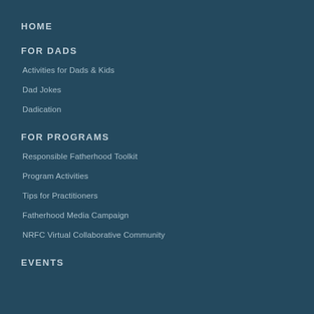HOME
FOR DADS
Activities for Dads & Kids
Dad Jokes
Dadication
FOR PROGRAMS
Responsible Fatherhood Toolkit
Program Activities
Tips for Practitioners
Fatherhood Media Campaign
NRFC Virtual Collaborative Community
EVENTS